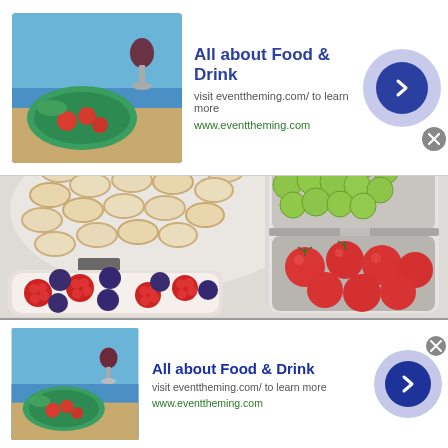[Figure (screenshot): Advertisement banner: thumbnail of food and wine on beach, title 'All about Food & Drink', subtitle 'visit eventtheming.com/ to learn more', URL 'www.eventtheming.com', arrow button with lavender circle background, close X button]
[Figure (photo): Large food photo collage: tortellini pasta in vacuum pack (top left), bowl of mixed berries including raspberries and blueberries (bottom left), stainless steel bento box with green grapes (top compartment) and cherry tomatoes (bottom compartment) on right side]
[Figure (screenshot): Second advertisement banner (identical to first): thumbnail of food and wine on beach, title 'All about Food & Drink', subtitle 'visit eventtheming.com/ to learn more', URL 'www.eventtheming.com', arrow button with lavender circle background, close X button]